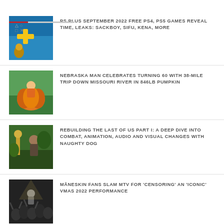PS PLUS SEPTEMBER 2022 FREE PS4, PS5 GAMES REVEAL TIME, LEAKS: SACKBOY, SIFU, KENA, MORE
NEBRASKA MAN CELEBRATES TURNING 60 WITH 38-MILE TRIP DOWN MISSOURI RIVER IN 846LB PUMPKIN
REBUILDING THE LAST OF US PART I: A DEEP DIVE INTO COMBAT, ANIMATION, AUDIO AND VISUAL CHANGES WITH NAUGHTY DOG
MÅNESKIN FANS SLAM MTV FOR 'CENSORING' AN 'ICONIC' VMAS 2022 PERFORMANCE